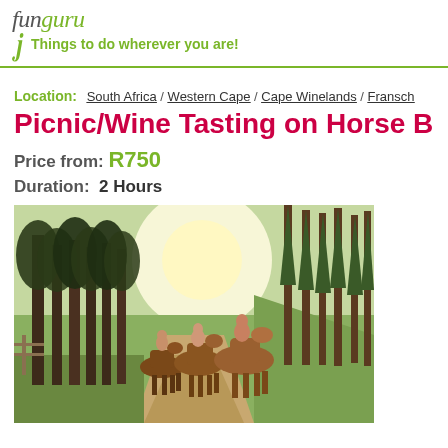funguru – Things to do wherever you are!
Location: South Africa / Western Cape / Cape Winelands / Fransch...
Picnic/Wine Tasting on Horse Back
Price from: R750
Duration: 2 Hours
[Figure (photo): Group of people horseback riding along a tree-lined dirt path through a forest with bright sunlight in background and green hills on the right]